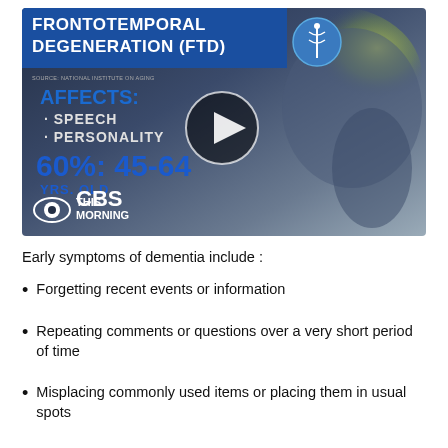[Figure (screenshot): CBS This Morning video thumbnail showing a medical infographic about Frontotemporal Degeneration (FTD). Blue banner with title, text stating it affects speech and personality, statistic '60%: 45-64 YRS. OLD', brain scan graphic with highlighted frontal lobe, play button overlay, and CBS This Morning logo.]
Early symptoms of dementia include :
Forgetting recent events or information
Repeating comments or questions over a very short period of time
Misplacing commonly used items or placing them in usual spots